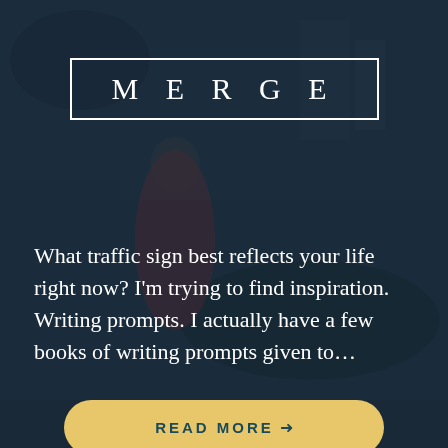[Figure (photo): Dark blue-tinted photo of a woman in a red dress standing next to a car in a parking area. The image has a dark navy overlay making it appear dim.]
MERGE
What traffic sign best reflects your life right now? I'm trying to find inspiration. Writing prompts. I actually have a few books of writing prompts given to...
READ MORE →